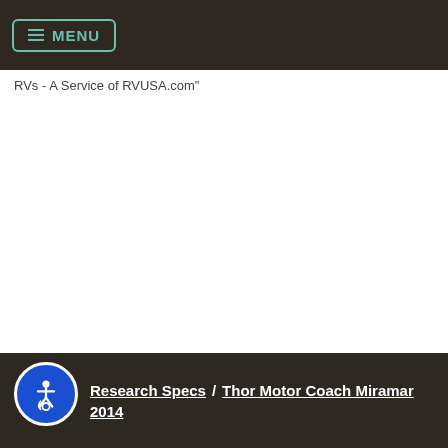MENU
RVs - A Service of RVUSA.com"
Research Specs / Thor Motor Coach Miramar 2014